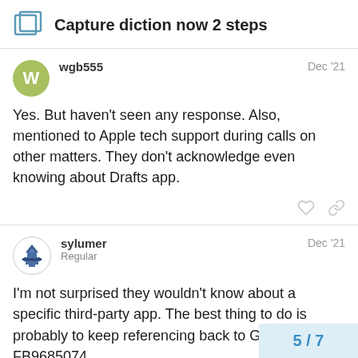Capture diction now 2 steps
wgb555
Dec '21
Yes. But haven't seen any response. Also, mentioned to Apple tech support during calls on other matters. They don't acknowledge even knowing about Drafts app.
sylumer
Regular
Dec '21
I'm not surprised they wouldn't know about a specific third-party app. The best thing to do is probably to keep referencing back to Greg's ticket - FB9685074.
5 / 7